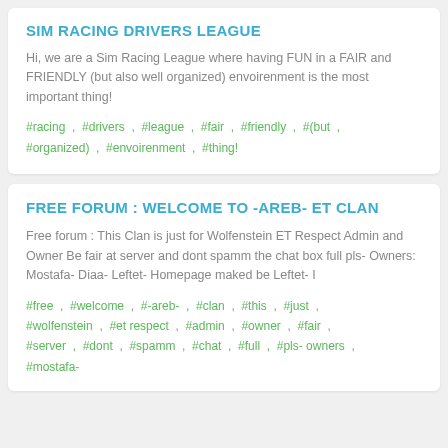SIM RACING DRIVERS LEAGUE
Hi, we are a Sim Racing League where having FUN in a FAIR and FRIENDLY (but also well organized) envoirenment is the most important thing!
#racing , #drivers , #league , #fair , #friendly , #(but , #organized) , #envoirenment , #thing!
FREE FORUM : WELCOME TO -AREB- ET CLAN
Free forum : This Clan is just for Wolfenstein ET Respect Admin and Owner Be fair at server and dont spamm the chat box full pls- Owners: Mostafa- Diaa- Leftet- Homepage maked be Leftet- I
#free , #welcome , #-areb- , #clan , #this , #just , #wolfenstein , #et respect , #admin , #owner , #fair , #server , #dont , #spamm , #chat , #full , #pls- owners , #mostafa-